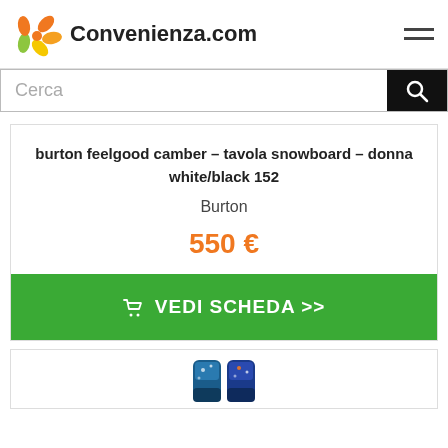Convenienza.com
Cerca
burton feelgood camber – tavola snowboard – donna white/black 152
Burton
550 €
VEDI SCHEDA >>
[Figure (photo): Partial view of snowboard boots at the bottom of the page]